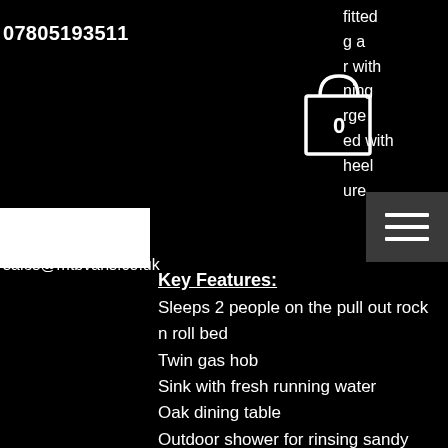07805193511
[Figure (illustration): Shopping cart icon with number 0 inside]
fitted
g a
r with
ning
rge
ed with
heel
ure
[Figure (illustration): Hamburger menu button (three horizontal lines) on dark grey background]
sales@mtbvans.co.uk
Key Features:
Sleeps 2 people on the pull out rock n roll bed
Twin gas hob
Sink with fresh running water
Oak dining table
Outdoor shower for rinsing sandy toes. (Cold water only - Sorry!)
30l fridge that runs off the leisure